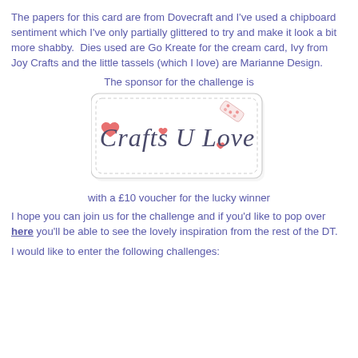The papers for this card are from Dovecraft and I've used a chipboard sentiment which I've only partially glittered to try and make it look a bit more shabby.  Dies used are Go Kreate for the cream card, Ivy from Joy Crafts and the little tassels (which I love) are Marianne Design.
The sponsor for the challenge is
[Figure (logo): Crafts U Love logo — a rectangular label with stitched border, pink hearts, cursive 'Crafts U Love' text, and a decorative spotted element in the corner]
with a £10 voucher for the lucky winner
I hope you can join us for the challenge and if you'd like to pop over here you'll be able to see the lovely inspiration from the rest of the DT.
I would like to enter the following challenges: